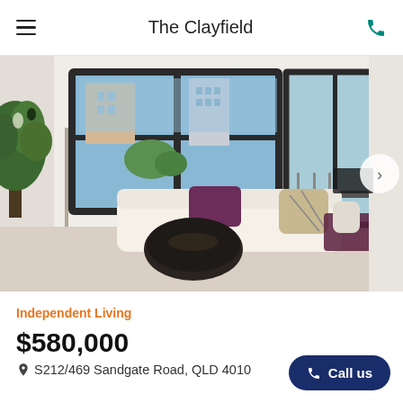The Clayfield
[Figure (photo): Interior photo of a modern apartment living room with large windows, white sofa with purple cushions and blanket, round dark coffee table, and green plant on the left. City building views outside.]
Independent Living
$580,000
S212/469 Sandgate Road, QLD 4010
Call us